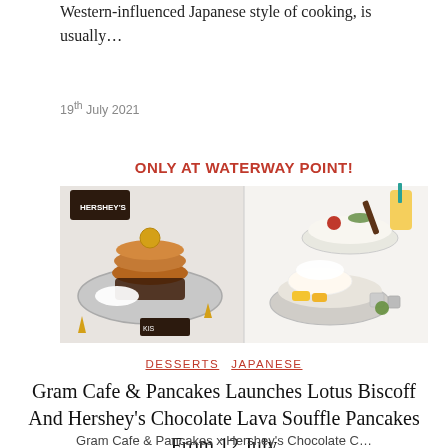Western-influenced Japanese style of cooking, is usually…
19th July 2021
[Figure (photo): Promotional food photo showing pancake desserts with text 'ONLY AT WATERWAY POINT!' on a white background. Left side shows Hershey's chocolate lava pancakes on a silver plate; right side shows a colorful fruit and cream pancake dessert plating.]
DESSERTS   JAPANESE
Gram Cafe & Pancakes Launches Lotus Biscoff And Hershey's Chocolate Lava Souffle Pancakes From 12 July
Gram Cafe & Pancakes x Hershey's Chocolate C...